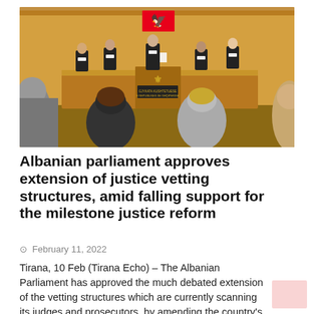[Figure (photo): Court or parliament hearing room with judges/officials in black robes standing at a raised bench in front of the Albanian flag. Audience members seated, viewed from behind.]
Albanian parliament approves extension of justice vetting structures, amid falling support for the milestone justice reform
February 11, 2022
Tirana, 10 Feb (Tirana Echo) – The Albanian Parliament has approved the much debated extension of the vetting structures which are currently scanning its judges and prosecutors, by amending the country's Constitution. 118 out of [...]